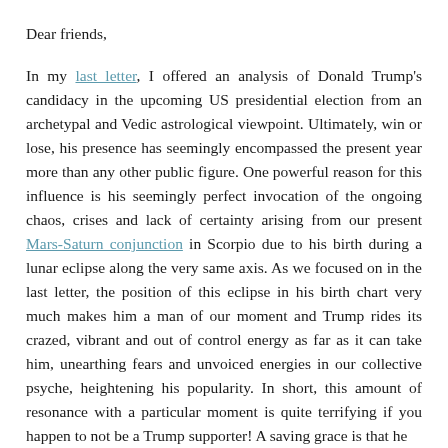Dear friends,
In my last letter, I offered an analysis of Donald Trump's candidacy in the upcoming US presidential election from an archetypal and Vedic astrological viewpoint. Ultimately, win or lose, his presence has seemingly encompassed the present year more than any other public figure. One powerful reason for this influence is his seemingly perfect invocation of the ongoing chaos, crises and lack of certainty arising from our present Mars-Saturn conjunction in Scorpio due to his birth during a lunar eclipse along the very same axis. As we focused on in the last letter, the position of this eclipse in his birth chart very much makes him a man of our moment and Trump rides its crazed, vibrant and out of control energy as far as it can take him, unearthing fears and unvoiced energies in our collective psyche, heightening his popularity. In short, this amount of resonance with a particular moment is quite terrifying if you happen to not be a Trump supporter! A saving grace is that he